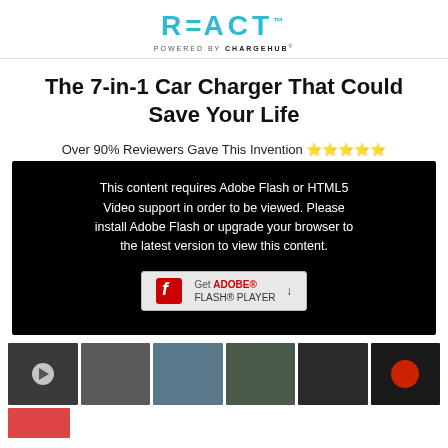REACT powered by CHARGEHUB
The 7-in-1 Car Charger That Could Save Your Life
Over 90% Reviewers Gave This Invention ⭐⭐⭐⭐⭐
[Figure (screenshot): Black video player area with Flash fallback message: 'This content requires Adobe Flash or HTML5 Video support in order to be viewed. Please install Adobe Flash or upgrade your browser to the latest version to view this content.' with a Get Adobe Flash Player button.]
[Figure (photo): Row of product video thumbnails showing the 7-in-1 car charger in various scenarios: hand holding device, car gear shift knob diagram, charger in rain, hands holding charger, charger with phone, red light/siren, and a partial red thumbnail below.]